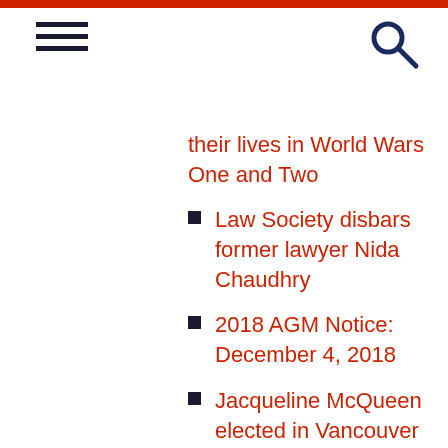their lives in World Wars One and Two
Law Society disbars former lawyer Nida Chaudhry
2018 AGM Notice: December 4, 2018
Jacqueline McQueen elected in Vancouver county by-election
Provincial government tables legislation enabling the Law Society to regulate licensed paralegals
Former lawyer Christopher Cook resigns in the face of